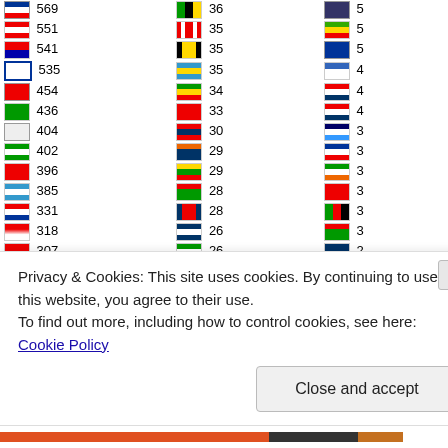| Flag | Count | Flag | Count | Flag | Count |
| --- | --- | --- | --- | --- | --- |
| South Korea | 569 | Tanzania | 36 | Djibouti/flag5 | 5 |
| Austria | 551 | Georgia | 35 | Senegal | 5 |
| Taiwan | 541 | Brunei | 35 | flag | 5 |
| Israel | 535 | Kazakhstan | 35 | Finland | 4 |
| Tonga | 454 | Zimbabwe | 34 | USA | 4 |
| Saudi Arabia | 436 | Turkey | 33 | flag | 4 |
| flag | 404 | flag | 30 | Iceland | 3 |
| Pakistan | 402 | Azerbaijan | 29 | Cuba | 3 |
| China | 396 | Myanmar | 29 | Ireland/Ivory Coast | 3 |
| Argentina | 385 | flag | 28 | flag | 3 |
| Croatia | 331 | flag | 28 | flag | 3 |
| flag | 318 | flag | 26 | flag | 3 |
| Vietnam | 307 | flag | 26 | flag | 2 |
| flag | 281 | Uganda/flag | 25 | flag | 2 |
| flag | 256 | flag | 24 | Netherlands | 2 |
| Serbia | 238 | Namibia | 24 | flag | 2 |
| flag | 236 | France | 23 | flag | 2 |
| Ukraine | 233 | Indonesia | 22 | South Sudan | 2 |
| Kenya | 229 | New Zealand | 22 | Italy | 1 |
| flag | 229 | Marshall Islands | 20 | Somalia | 1 |
| flag | 217 | Guyana | 19 | flag | 1 |
Privacy & Cookies: This site uses cookies. By continuing to use this website, you agree to their use.
To find out more, including how to control cookies, see here: Cookie Policy